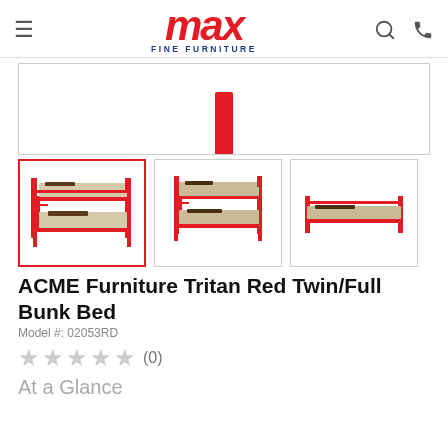MAX FINE FURNITURE
[Figure (photo): Partially visible red metal bunk bed product image (cropped, showing only top portion)]
[Figure (photo): Three product thumbnails of ACME Furniture Tritan Red Twin/Full Bunk Bed from different angles. First thumbnail is active (red border).]
ACME Furniture Tritan Red Twin/Full Bunk Bed
Model #: 02053RD
★★★★★ (0)
At a Glance